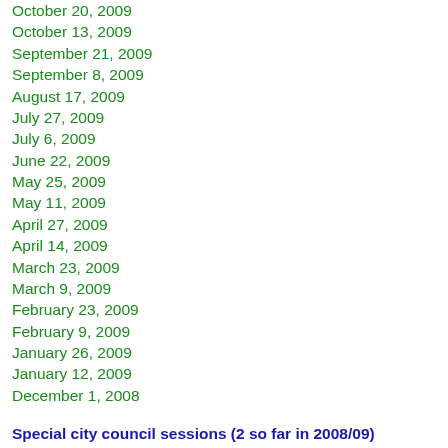October 20, 2009
October 13, 2009
September 21, 2009
September 8, 2009
August 17, 2009
July 27, 2009
July 6, 2009
June 22, 2009
May 25, 2009
May 11, 2009
April 27, 2009
April 14, 2009
March 23, 2009
March 9, 2009
February 23, 2009
February 9, 2009
January 26, 2009
January 12, 2009
December 1, 2008
Special city council sessions (2 so far in 2008/09)
Above: city council sessions in 2009 so far